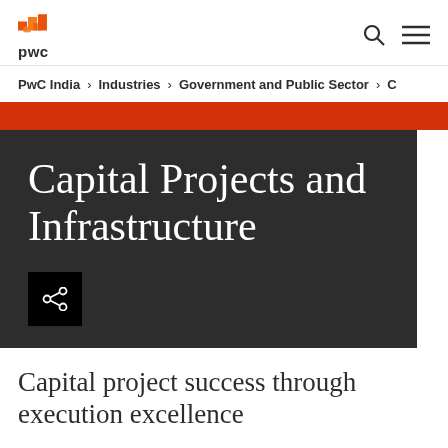pwc
PwC India > Industries > Government and Public Sector >
Capital Projects and Infrastructure
Capital project success through execution excellence